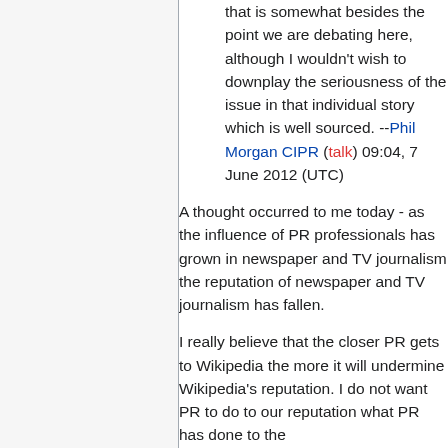that is somewhat besides the point we are debating here, although I wouldn't wish to downplay the seriousness of the issue in that individual story which is well sourced. --Phil Morgan CIPR (talk) 09:04, 7 June 2012 (UTC)
A thought occurred to me today - as the influence of PR professionals has grown in newspaper and TV journalism the reputation of newspaper and TV journalism has fallen.
I really believe that the closer PR gets to Wikipedia the more it will undermine Wikipedia's reputation. I do not want PR to do to our reputation what PR has done to the